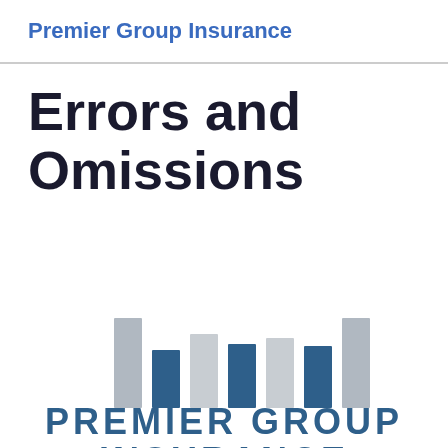Premier Group Insurance
Errors and Omissions
[Figure (logo): Premier Group Insurance logo with bar chart graphic above text 'PREMIER GROUP INSURANCE']